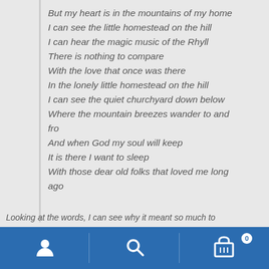But my heart is in the mountains of my home
I can see the little homestead on the hill
I can hear the magic music of the Rhyll
There is nothing to compare
With the love that once was there
In the lonely little homestead on the hill
I can see the quiet churchyard down below
Where the mountain breezes wander to and fro
And when God my soul will keep
It is there I want to sleep
With those dear old folks that loved me long ago
Looking at the words, I can see why it meant so much to
[Figure (other): Blue navigation bar with three icons: user/person icon on left, search/magnifying glass icon in center, shopping cart icon with badge showing '0' on right. Dividers between sections.]